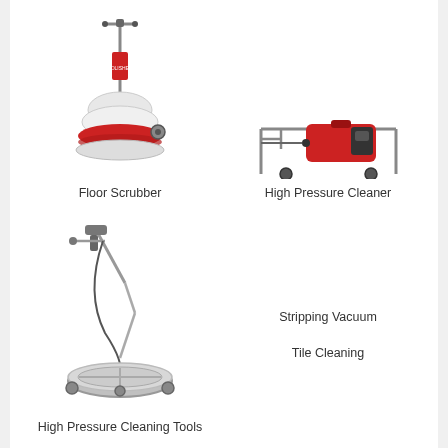[Figure (illustration): Floor scrubber machine with red circular brush base, white body, red label, and handle]
Floor Scrubber
[Figure (illustration): High pressure cleaner machine with red tank on a wheeled frame with handle]
High Pressure Cleaner
[Figure (illustration): High pressure cleaning tool - circular surface cleaner with handle/wand and wheeled base]
High Pressure Cleaning Tools
Stripping Vacuum
Tile Cleaning